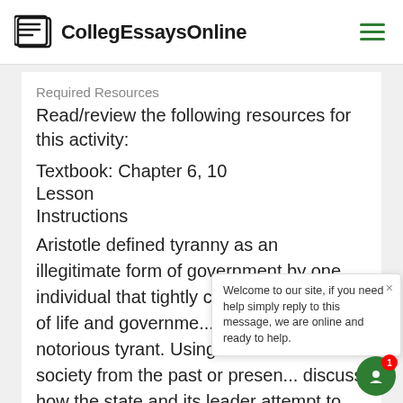CollegEssaysOnline
Required Resources
Read/review the following resources for this activity:
Textbook: Chapter 6, 10
Lesson
Instructions
Aristotle defined tyranny as an illegitimate form of government by one individual that tightly controlled every part of life and governme... Hitler is the most notorious tyrant. Using a... totalitarian society from the past or presen... discuss how the state and its leader attempt to impede citizens from exercising their rights. In